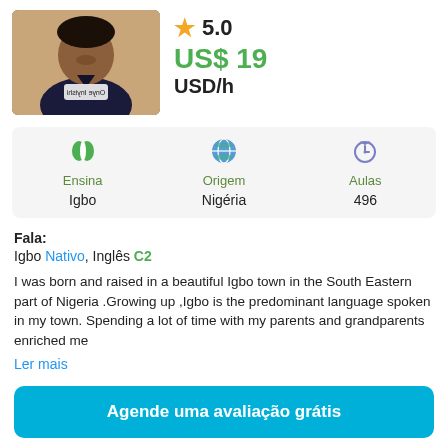[Figure (photo): Profile photo of a woman in a dark navy t-shirt with text on it, smiling]
5.0
US$ 19
USD/h
| Ensina | Origem | Aulas |
| --- | --- | --- |
| Igbo | Nigéria | 496 |
Fala:
Igbo Nativo, Inglês C2
I was born and raised in a beautiful Igbo town in the South Eastern part of Nigeria .Growing up ,Igbo is the predominant language spoken in my town. Spending a lot of time with my parents and grandparents enriched me
Ler mais
Agende uma avaliação grátis